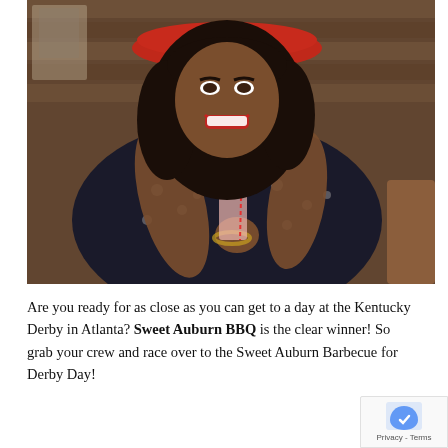[Figure (photo): A smiling woman wearing a red wide-brim hat, black floral dress, gold necklace and bracelet, holding a tall pink drink with a straw and mint garnish, sitting in a restaurant with wooden walls.]
Are you ready for as close as you can get to a day at the Kentucky Derby in Atlanta? Sweet Auburn BBQ is the clear winner! So grab your crew and race over to the Sweet Auburn Barbecue for Derby Day!